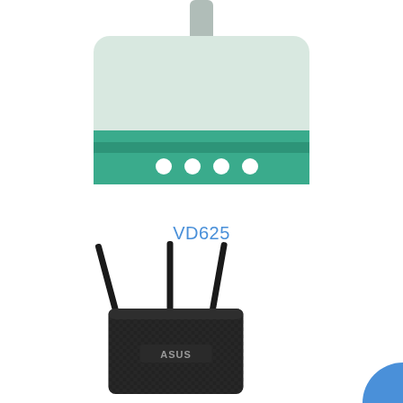[Figure (illustration): Flat illustration of a modem/router device. The device has a light gray/mint body with a teal/green lower band containing four white LED indicator dots. A gray antenna protrudes from the top center.]
VD625
[Figure (photo): Photo of an ASUS wireless router with three black antennas and a black textured body, viewed from a slight angle. The ASUS logo is visible on the front.]
[Figure (illustration): Partial blue arc/semicircle visible at bottom right corner of the page.]